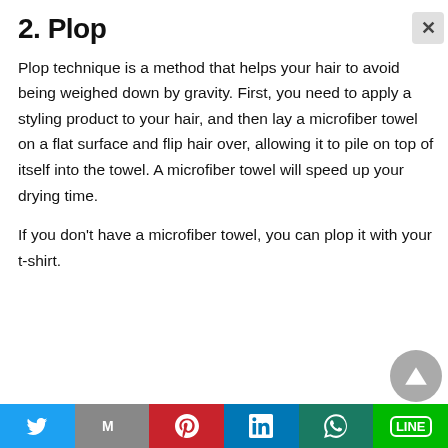2. Plop
Plop technique is a method that helps your hair to avoid being weighed down by gravity. First, you need to apply a styling product to your hair, and then lay a microfiber towel on a flat surface and flip hair over, allowing it to pile on top of itself into the towel. A microfiber towel will speed up your drying time.
If you don't have a microfiber towel, you can plop it with your t-shirt.